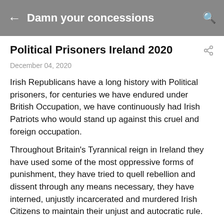← Damn your concessions 🔍
Political Prisoners Ireland 2020
December 04, 2020
Irish Republicans have a long history with Political prisoners, for centuries we have endured under British Occupation, we have continuously had Irish Patriots who would stand up against this cruel and foreign occupation.
Throughout Britain's Tyrannical reign in Ireland they have used some of the most oppressive forms of punishment, they have tried to quell rebellion and dissent through any means necessary, they have interned, unjustly incarcerated and murdered Irish Citizens to maintain their unjust and autocratic rule.
Many people throughout the world would be made believe that what I refer to are issues of the past, that Ireland in 2020 is a democratic place, that Britain rule by consent